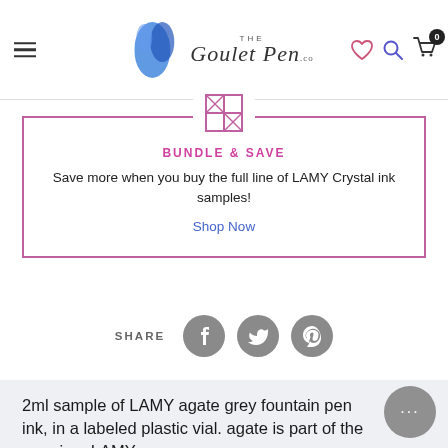The Goulet Pen Co — navigation header with hamburger menu, logo, heart icon, search icon, cart icon (0)
[Figure (infographic): Bundle and Save promotional box with gift/bundle icon, magenta border, heading BUNDLE & SAVE, body text, and Shop Now link]
BUNDLE & SAVE
Save more when you buy the full line of LAMY Crystal ink samples!
Shop Now
SHARE
[Figure (infographic): Social share icons: Facebook, Twitter, Pinterest — grey circles with white icons]
2ml sample of LAMY agate grey fountain pen ink, in a labeled plastic vial. agate is part of the premium LAMY